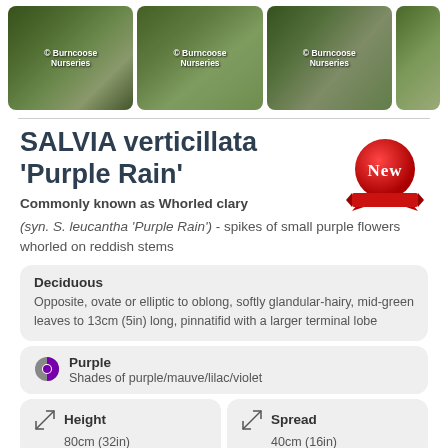[Figure (photo): Four thumbnail photos of the plant from Burncoose Nurseries with copyright watermark]
SALVIA verticillata 'Purple Rain'
Commonly known as Whorled clary
[Figure (illustration): NEW badge - red circular rosette ribbon with 'New' text]
(syn. S. leucantha 'Purple Rain') - spikes of small purple flowers whorled on reddish stems
Deciduous
Opposite, ovate or elliptic to oblong, softly glandular-hairy, mid-green leaves to 13cm (5in) long, pinnatifid with a larger terminal lobe
Purple
Shades of purple/mauve/lilac/violet
Height
80cm (32in)
Spread
40cm (16in)